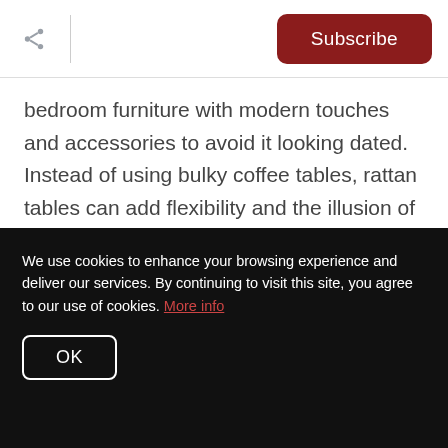Subscribe
bedroom furniture with modern touches and accessories to avoid it looking dated. Instead of using bulky coffee tables, rattan tables can add flexibility and the illusion of space to a narrow or smaller room.
[Figure (photo): Close-up photo of a rattan basket or table with a plant on top, showing woven natural fiber texture with dark rim, against a light background with curtains.]
We use cookies to enhance your browsing experience and deliver our services. By continuing to visit this site, you agree to our use of cookies. More info
OK